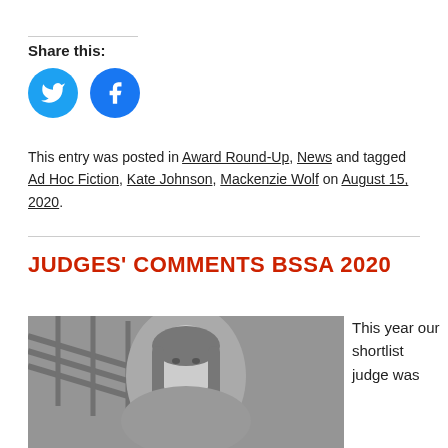Share this:
[Figure (illustration): Twitter and Facebook share icon buttons (blue circles with white bird and f logos)]
This entry was posted in Award Round-Up, News and tagged Ad Hoc Fiction, Kate Johnson, Mackenzie Wolf on August 15, 2020.
JUDGES' COMMENTS BSSA 2020
[Figure (photo): Black and white portrait photo of a woman with long hair, standing in front of stairs/railings outdoors.]
This year our shortlist judge was